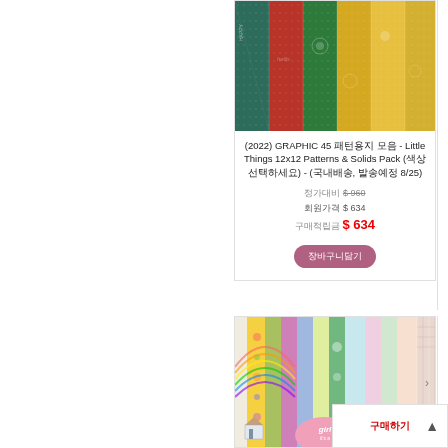[Figure (photo): Colorful patterned scrapbook paper pack showing vertical strips of teal, red, green, yellow and gold patterned papers]
(2022) GRAPHIC 45 패턴용지 모음 - Little Things 12x12 Patterns & Solids Pack (색상 선택하세요) - (국내배송, 발송예정 8/25)
정가대비 $ 960
회원가격 $ 634
구매적립금 $ 634
장바구니담기
[Figure (photo): Colorful scrapbook paper pack with pastel patterned papers in pink, green, blue, yellow and purple with a girl baby shower theme badge at bottom]
구매하기